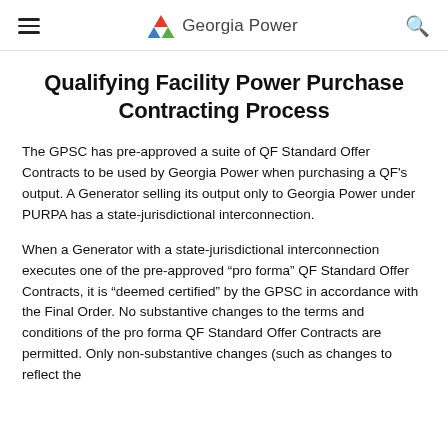Georgia Power
Qualifying Facility Power Purchase Contracting Process
The GPSC has pre-approved a suite of QF Standard Offer Contracts to be used by Georgia Power when purchasing a QF's output. A Generator selling its output only to Georgia Power under PURPA has a state-jurisdictional interconnection.
When a Generator with a state-jurisdictional interconnection executes one of the pre-approved “pro forma” QF Standard Offer Contracts, it is “deemed certified” by the GPSC in accordance with the Final Order. No substantive changes to the terms and conditions of the pro forma QF Standard Offer Contracts are permitted. Only non-substantive changes (such as changes to reflect the